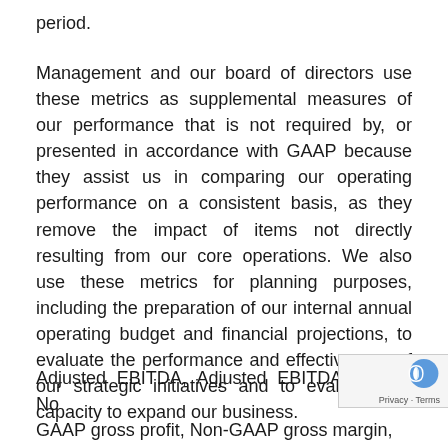period.
Management and our board of directors use these metrics as supplemental measures of our performance that is not required by, or presented in accordance with GAAP because they assist us in comparing our operating performance on a consistent basis, as they remove the impact of items not directly resulting from our core operations. We also use these metrics for planning purposes, including the preparation of our internal annual operating budget and financial projections, to evaluate the performance and effectiveness of our strategic initiatives and to evaluate our capacity to expand our business.
Adjusted EBITDA, Adjusted EBITDA margin, Non-GAAP gross profit, Non-GAAP gross margin, Non-GAAP operating expenses, Non-GAAP net income...